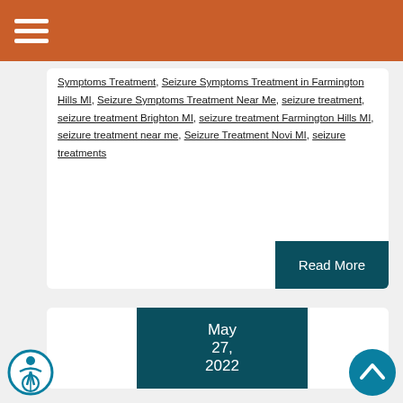Symptoms Treatment, Seizure Symptoms Treatment in Farmington Hills MI, Seizure Symptoms Treatment Near Me, seizure treatment, seizure treatment Brighton MI, seizure treatment Farmington Hills MI, seizure treatment near me, Seizure Treatment Novi MI, seizure treatments
Read More
May 27, 2022